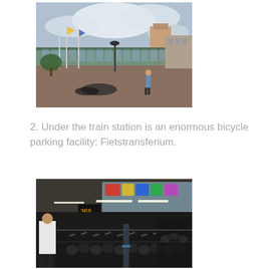[Figure (photo): Outdoor photo of a train station with a glass overhead bridge/walkway, flagpoles with flags, bicycles parked in the foreground, and a person standing on a brick plaza. Buildings visible in the background under a partly cloudy sky.]
2. Under the train station is an enormous bicycle parking facility: Fietstransferium.
[Figure (photo): Indoor photo of an enormous underground bicycle parking facility (Fietstransferium) with rows and rows of bicycles, a person in a white shirt in the foreground, lighting strips on the ceiling, and colorful signage visible through a glass wall at the back.]